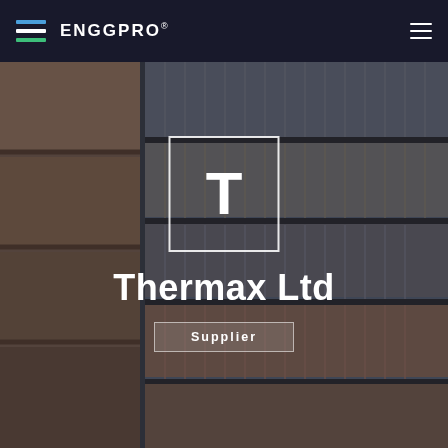ENGGPRO®
[Figure (photo): Background photo of stacked shipping containers in blue, red/brown colors, shown at an angle]
[Figure (logo): Large white T letter inside a white outlined square box, serving as the Thermax Ltd company logo]
Thermax Ltd
Supplier